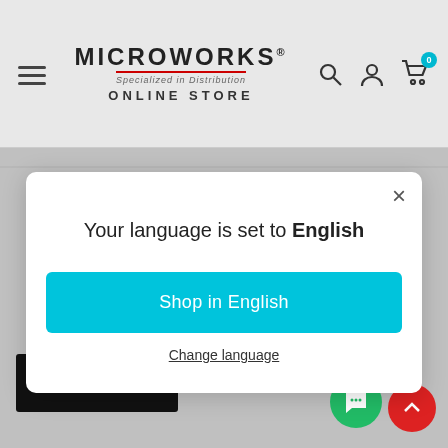[Figure (logo): Microworks Specialized in Distribution Online Store logo with hamburger menu, search, account, and cart icons]
Your language is set to English
Shop in English
Change language